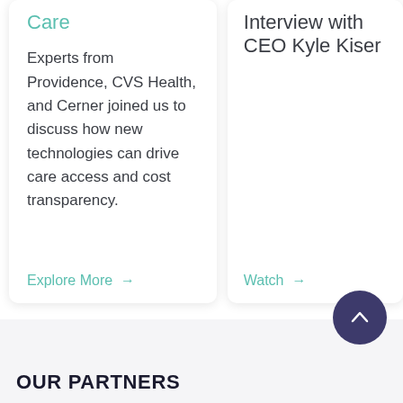Care
Experts from Providence, CVS Health, and Cerner joined us to discuss how new technologies can drive care access and cost transparency.
Explore More →
Interview with CEO Kyle Kiser
Watch →
OUR PARTNERS